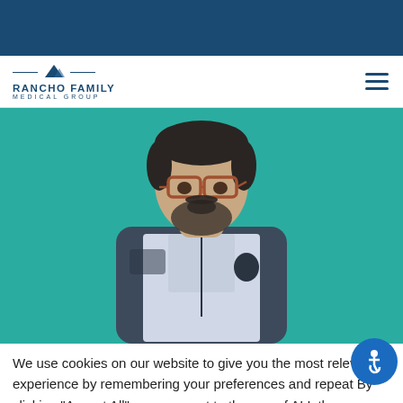[Figure (logo): Rancho Family Medical Group logo with mountain icon, dark blue text]
[Figure (photo): A man with glasses and a beard wearing a Columbia vest standing against a teal background]
We use cookies on our website to give you the most relevant experience by remembering your preferences and repeat By clicking "Accept All", you consent to the use of ALL the cookies. However, you may visit "Cookie Settings" to provide a